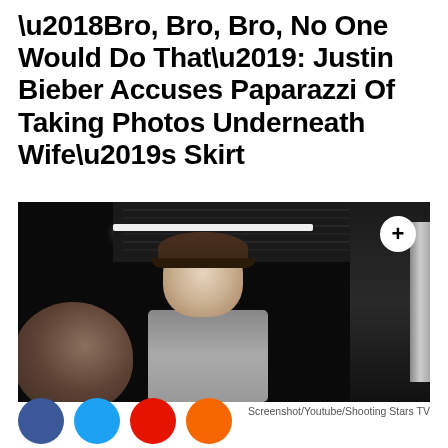‘Bro, Bro, Bro, No One Would Do That’: Justin Bieber Accuses Paparazzi Of Taking Photos Underneath Wife’s Skirt
[Figure (photo): Video screenshot showing Justin Bieber in a denim jacket and backwards cap exiting a vehicle at night, with a bald person in the foreground left and a dark car door on the right. A white circular plus button overlay appears in the top right corner.]
Screenshot/Youtube/Shooting Stars TV